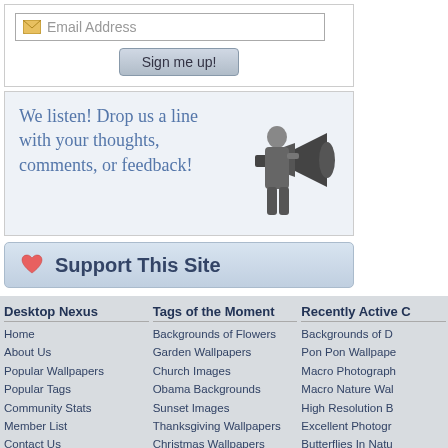[Figure (screenshot): Email address input box with envelope icon and placeholder text 'Email Address', followed by a 'Sign me up!' button]
We listen! Drop us a line with your thoughts, comments, or feedback!
[Figure (illustration): Black and white illustration of a person holding a megaphone/bullhorn]
❤ Support This Site
Desktop Nexus
Home
About Us
Popular Wallpapers
Popular Tags
Community Stats
Member List
Contact Us
Tags of the Moment
Backgrounds of Flowers
Garden Wallpapers
Church Images
Obama Backgrounds
Sunset Images
Thanksgiving Wallpapers
Christmas Wallpapers
Recently Active C
Backgrounds of D
Pon Pon Wallpape
Macro Photograph
Macro Nature Wal
High Resolution B
Excellent Photogr
Butterflies In Natu
Privacy Policy 🔒 | Terms of Service | Partnerships | DMCA Copyright Violation
© Desktop Nexus - All rights reserved.
Page rendered with 7 queries (and 0 cached) in 0.078 seconds from server 92.